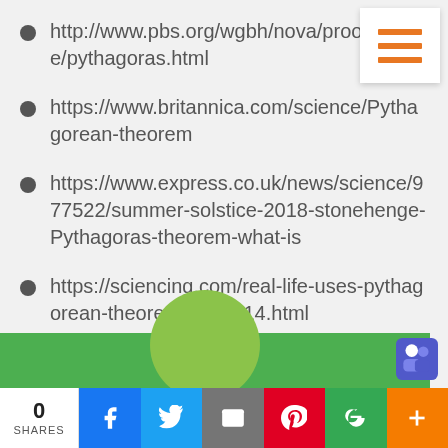http://www.pbs.org/wgbh/nova/proof/puzzle/pythagoras.html
https://www.britannica.com/science/Pythagorean-theorem
https://www.express.co.uk/news/science/977522/summer-solstice-2018-stonehenge-Pythagoras-theorem-what-is
https://sciencing.com/real-life-uses-pythagorean-theorem-8247514.html
0 SHARES | Share on Facebook | Share on Twitter | Email | Pinterest | Google+ | More